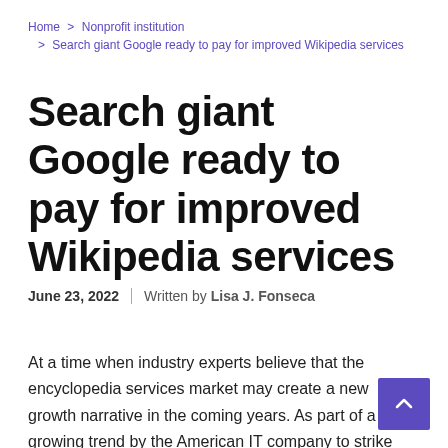Home > Nonprofit institution > Search giant Google ready to pay for improved Wikipedia services
Search giant Google ready to pay for improved Wikipedia services
June 23, 2022 | Written by Lisa J. Fonseca
At a time when industry experts believe that the encyclopedia services market may create a new growth narrative in the coming years. As part of a growing trend by the American IT company to strike commercial deals with other web organizations,